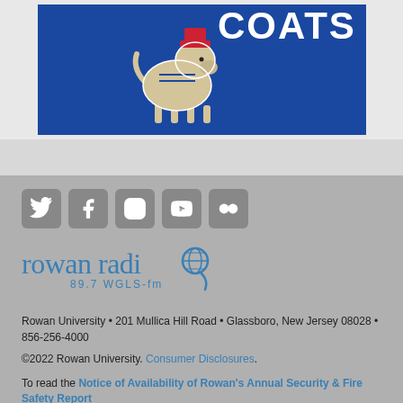[Figure (illustration): Rowan University Profs mascot (goat) on blue banner background with text 'PROFS' or 'COATS']
[Figure (logo): Social media icons: Twitter, Facebook, Instagram, YouTube, Flickr]
[Figure (logo): Rowan Radio 89.7 WGLS-fm logo]
Rowan University • 201 Mullica Hill Road • Glassboro, New Jersey 08028 • 856-256-4000
©2022 Rowan University. Consumer Disclosures.
To read the Notice of Availability of Rowan's Annual Security & Fire Safety Report